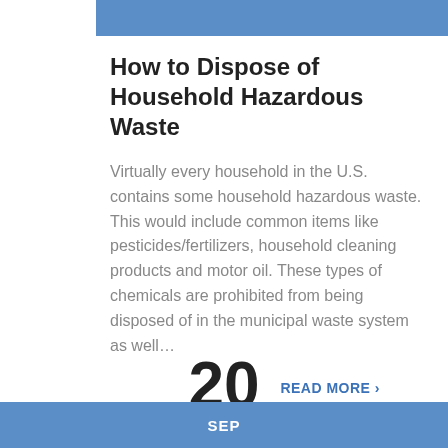SEP
How to Dispose of Household Hazardous Waste
Virtually every household in the U.S. contains some household hazardous waste. This would include common items like pesticides/fertilizers, household cleaning products and motor oil. These types of chemicals are prohibited from being disposed of in the municipal waste system as well…
READ MORE ›
20
SEP